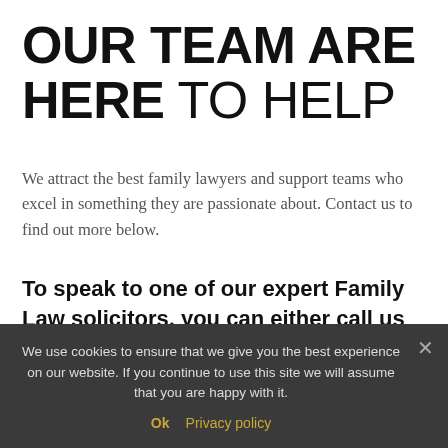OUR TEAM ARE HERE TO HELP
We attract the best family lawyers and support teams who excel in something they are passionate about. Contact us to find out more below.
To speak to one of our expert Family Law solicitors, you can either call us on 0151 8 32 32 53 or fill in our contact form below and we will call you back.
We use cookies to ensure that we give you the best experience on our website. If you continue to use this site we will assume that you are happy with it.